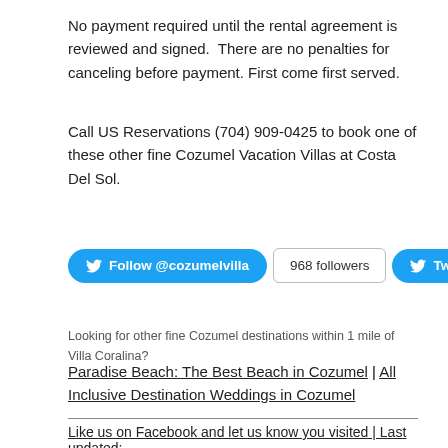No payment required until the rental agreement is reviewed and signed.  There are no penalties for canceling before payment. First come first served.
Call US Reservations (704) 909-0425 to book one of these other fine Cozumel Vacation Villas at Costa Del Sol.
[Figure (other): Twitter social media buttons: Follow @cozumelvilla button, 968 followers count, Tweet button]
Looking for other fine Cozumel destinations within 1 mile of Villa Coralina?
Paradise Beach: The Best Beach in Cozumel | All Inclusive Destination Weddings in Cozumel
Like us on Facebook and let us know you visited | Last updated: